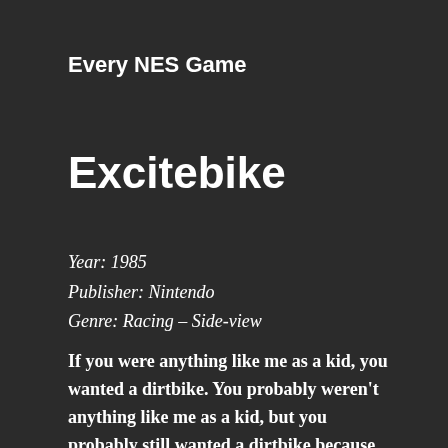Every NES Game
Excitebike
Year: 1985
Publisher: Nintendo
Genre: Racing – Side-view
If you were anything like me as a kid, you wanted a dirtbike. You probably weren't anything like me as a kid, but you probably still wanted a dirtbike because, let's face it, dirtbikes are cool, and every kid wanted one.